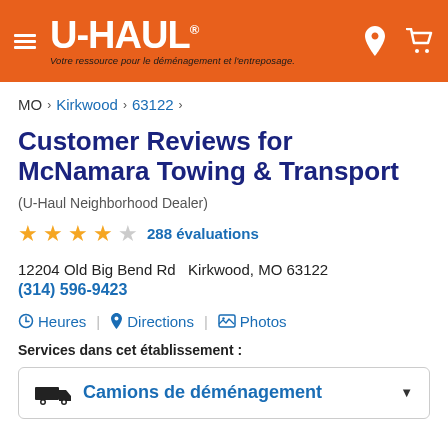U-HAUL® Votre ressource pour le déménagement et l'entreposage.
MO > Kirkwood > 63122 >
Customer Reviews for McNamara Towing & Transport
(U-Haul Neighborhood Dealer)
★★★★☆ 288 évaluations
12204 Old Big Bend Rd  Kirkwood, MO 63122
(314) 596-9423
⏱ Heures | 📍 Directions | 🖼 Photos
Services dans cet établissement :
🚛 Camions de déménagement ▼